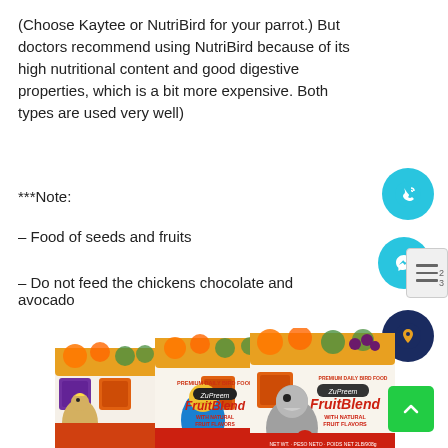(Choose Kaytee or NutriBird for your parrot.) But doctors recommend using NutriBird because of its high nutritional content and good digestive properties, which is a bit more expensive. Both types are used very well)
***Note:
– Food of seeds and fruits
– Do not feed the chickens chocolate and avocado
[Figure (photo): Three bags of ZuPreem FruitBlend Premium Daily Bird Food with parrots on the packaging, showing fruit imagery including oranges and grapes]